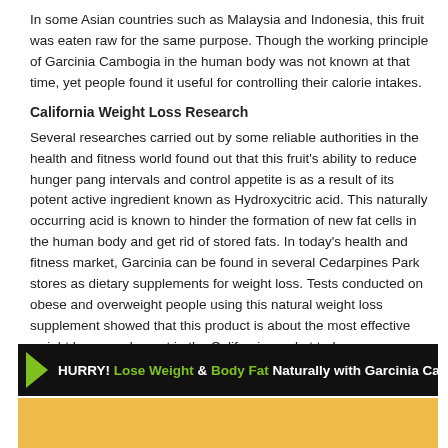In some Asian countries such as Malaysia and Indonesia, this fruit was eaten raw for the same purpose. Though the working principle of Garcinia Cambogia in the human body was not known at that time, yet people found it useful for controlling their calorie intakes.
California Weight Loss Research
Several researches carried out by some reliable authorities in the health and fitness world found out that this fruit's ability to reduce hunger pang intervals and control appetite is as a result of its potent active ingredient known as Hydroxycitric acid. This naturally occurring acid is known to hinder the formation of new fat cells in the human body and get rid of stored fats. In today's health and fitness market, Garcinia can be found in several Cedarpines Park stores as dietary supplements for weight loss. Tests conducted on obese and overweight people using this natural weight loss supplement showed that this product is about the most effective weight loss supplement in the California market today.
[Figure (infographic): Dark banner advertisement reading: HURRY! Lose Weight & Body Fat Naturally with Garcinia Cambogia, with green arrow chevrons on left and right sides]